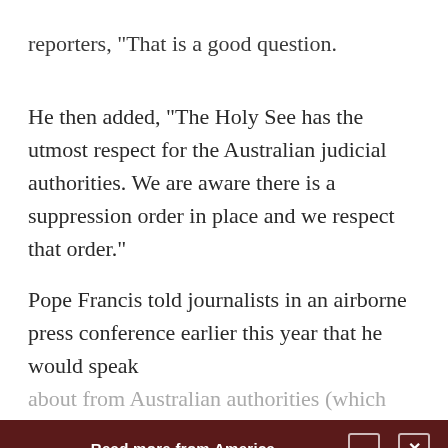reporters, 'That is a good question.'
He then added, “The Holy See has the utmost respect for the Australian judicial authorities. We are aware there is a suppression order in place and we respect that order.”
Pope Francis told journalists in an airborne press conference earlier this year that he would speak about from Australia (which tends to deal
Read more from America
[Figure (photo): Three Catholic clergymen in black attire seated together at what appears to be a press conference or formal gathering.]
Cardinal critical of bishops who publicly denounce...
Catholic News Service